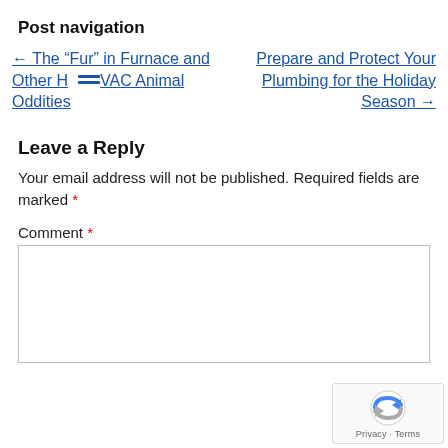Post navigation
← The “Fur” in Furnace and Other HVAC Animal Oddities
Prepare and Protect Your Plumbing for the Holiday Season →
Leave a Reply
Your email address will not be published. Required fields are marked *
Comment *